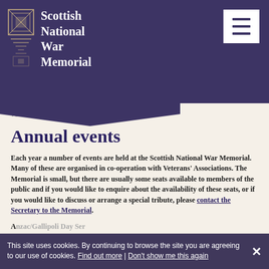Scottish National War Memorial
YOU ARE HERE: HOME | ANNUAL EVENTS
Annual events
Each year a number of events are held at the Scottish National War Memorial. Many of these are organised in co-operation with Veterans' Associations. The Memorial is small, but there are usually some seats available to members of the public and if you would like to enquire about the availability of these seats, or if you would like to discuss or arrange a special tribute, please contact the Secretary to the Memorial.
This site uses cookies. By continuing to browse the site you are agreeing to our use of cookies. Find out more | Don't show me this again